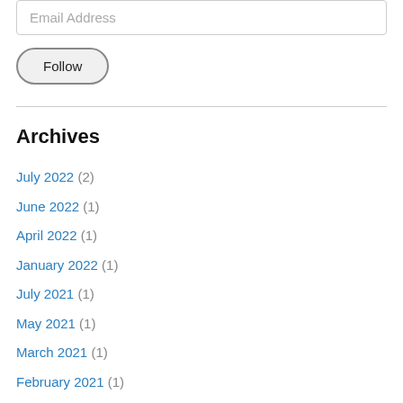Email Address
Follow
Archives
July 2022 (2)
June 2022 (1)
April 2022 (1)
January 2022 (1)
July 2021 (1)
May 2021 (1)
March 2021 (1)
February 2021 (1)
January 2021 (1)
October 2020 (1)
September 2020 (1)
August 2020 (2)